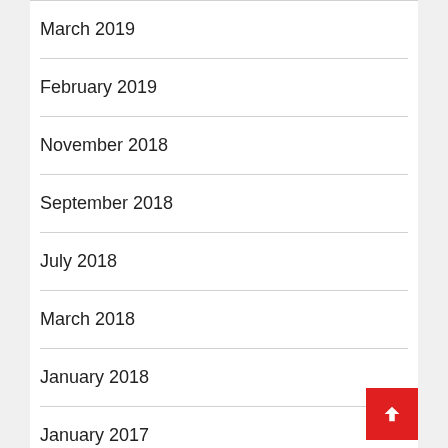March 2019
February 2019
November 2018
September 2018
July 2018
March 2018
January 2018
January 2017